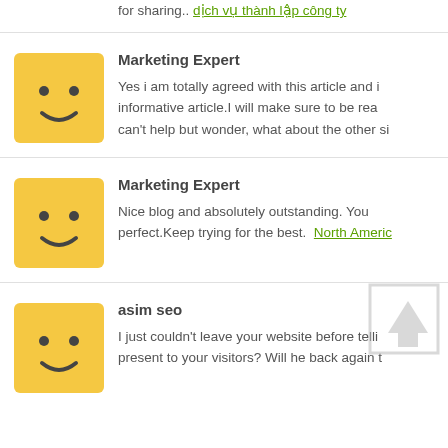for sharing.. dịch vụ thành lập công ty
Marketing Expert
Yes i am totally agreed with this article and i informative article.I will make sure to be rea can't help but wonder, what about the other si
Marketing Expert
Nice blog and absolutely outstanding. You perfect.Keep trying for the best. North Americ
asim seo
I just couldn't leave your website before telli present to your visitors? Will he back again t